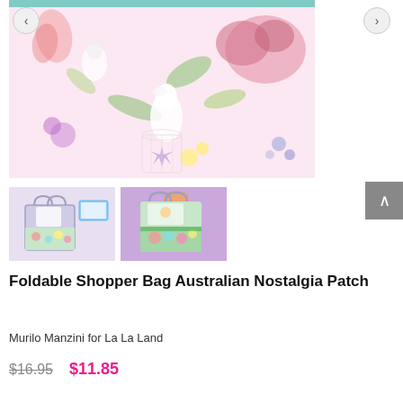[Figure (photo): Main product image showing a floral Australian Nostalgia pattern with cockatoos, tropical flowers, and pastel colors on a light pink background. Navigation arrows on left and right sides.]
[Figure (photo): Thumbnail 1: Foldable Shopper Bag Australian Nostalgia Patch product flat lay with small card]
[Figure (photo): Thumbnail 2: Foldable Shopper Bag Australian Nostalgia Patch being held, shown on purple background]
Foldable Shopper Bag Australian Nostalgia Patch
Murilo Manzini for La La Land
$16.95  $11.85